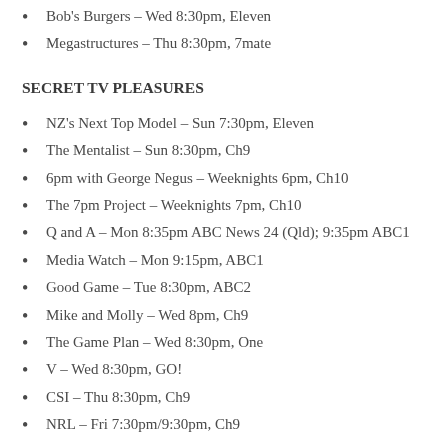Bob's Burgers – Wed 8:30pm, Eleven
Megastructures – Thu 8:30pm, 7mate
SECRET TV PLEASURES
NZ's Next Top Model – Sun 7:30pm, Eleven
The Mentalist – Sun 8:30pm, Ch9
6pm with George Negus – Weeknights 6pm, Ch10
The 7pm Project – Weeknights 7pm, Ch10
Q and A – Mon 8:35pm ABC News 24 (Qld); 9:35pm ABC1
Media Watch – Mon 9:15pm, ABC1
Good Game – Tue 8:30pm, ABC2
Mike and Molly – Wed 8pm, Ch9
The Game Plan  – Wed 8:30pm, One
V – Wed 8:30pm, GO!
CSI – Thu 8:30pm, Ch9
NRL – Fri 7:30pm/9:30pm, Ch9